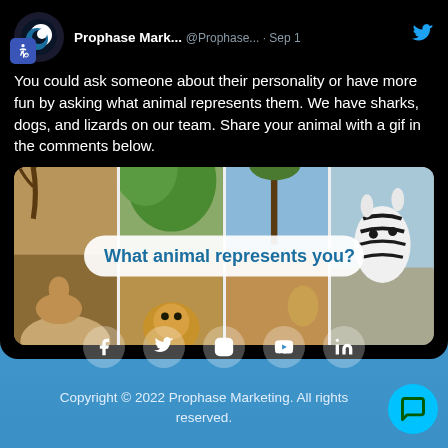[Figure (screenshot): Screenshot of a Twitter/X post by Prophase Marketing (@Prophase...) dated Sep 1, with text about asking what animal represents you, and a photo grid showing wildlife animals (antelope/deer, lion, lion, zebra) with overlay text 'What animal represents you?'. There is also an accessibility icon badge visible.]
You could ask someone about their personality or have more fun by asking what animal represents them. We have sharks, dogs, and lizards on our team. Share your animal with a gif in the comments below.
Copyright © 2022 Prophase Marketing. All rights reserved.